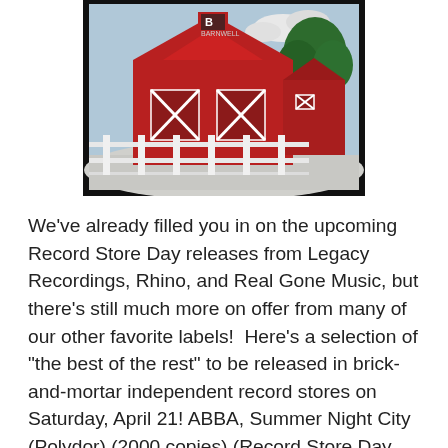[Figure (illustration): Painting of a red barn with a white fence in the foreground and a tree on the right side. The barn has white cross-pattern doors and windows. The image has a black border/frame around it.]
We've already filled you in on the upcoming Record Store Day releases from Legacy Recordings, Rhino, and Real Gone Music, but there's still much more on offer from many of our other favorite labels!  Here's a selection of "the best of the rest" to be released in brick-and-mortar independent record stores on Saturday, April 21! ABBA, Summer Night City (Polydor) (2000 copies) (Record Store Day UK) (Quantity TBA) Clear/yellow-splatter 7-inch release of ABBA's 1978